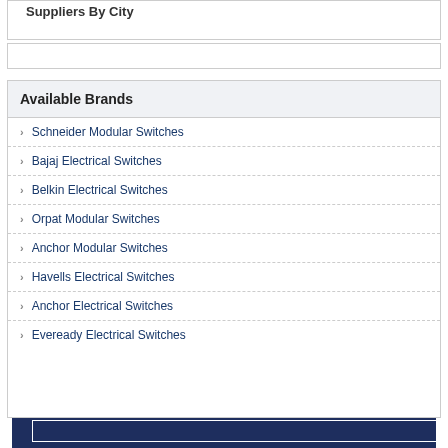Suppliers By City
Available Brands
Schneider Modular Switches
Bajaj Electrical Switches
Belkin Electrical Switches
Orpat Modular Switches
Anchor Modular Switches
Havells Electrical Switches
Anchor Electrical Switches
Eveready Electrical Switches